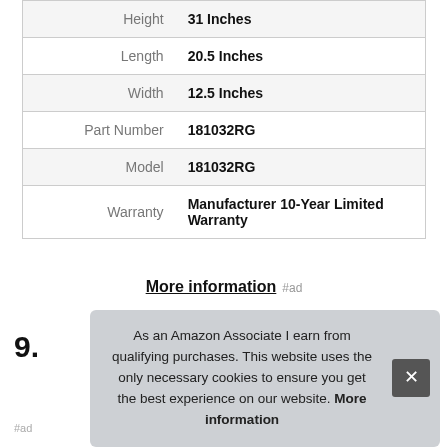| Attribute | Value |
| --- | --- |
| Height | 31 Inches |
| Length | 20.5 Inches |
| Width | 12.5 Inches |
| Part Number | 181032RG |
| Model | 181032RG |
| Warranty | Manufacturer 10-Year Limited Warranty |
More information #ad
9.
As an Amazon Associate I earn from qualifying purchases. This website uses the only necessary cookies to ensure you get the best experience on our website. More information
#ad